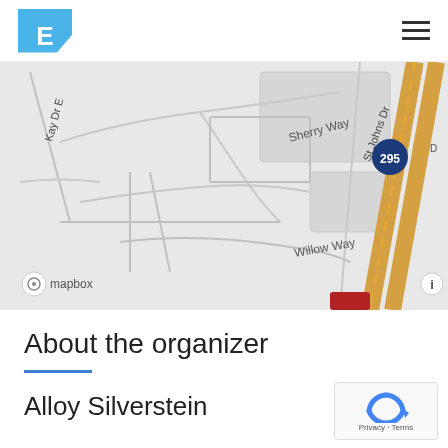E (logo)
[Figure (map): Street map showing Kay Dr E, Sherry Way, Willow Way, St Johns Dr, and Interstate 295 (orange highway). Map rendered by Mapbox.]
About the organizer
Alloy Silverstein